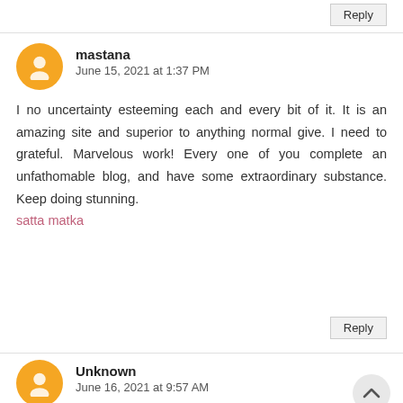Reply
mastana
June 15, 2021 at 1:37 PM

I no uncertainty esteeming each and every bit of it. It is an amazing site and superior to anything normal give. I need to grateful. Marvelous work! Every one of you complete an unfathomable blog, and have some extraordinary substance. Keep doing stunning.
satta matka
Reply
Unknown
June 16, 2021 at 9:57 AM

I was very pleased to find this site.I wanted to thank you for this great read!! I definitely enjoying every little bit of it and I have...